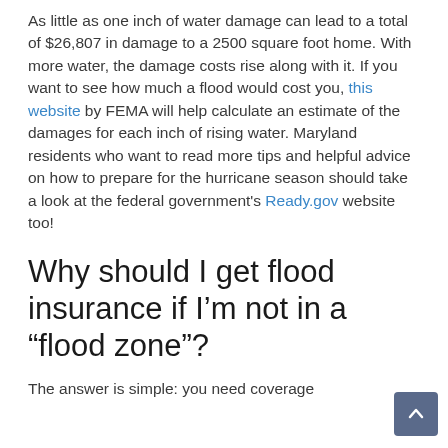As little as one inch of water damage can lead to a total of $26,807 in damage to a 2500 square foot home. With more water, the damage costs rise along with it. If you want to see how much a flood would cost you, this website by FEMA will help calculate an estimate of the damages for each inch of rising water. Maryland residents who want to read more tips and helpful advice on how to prepare for the hurricane season should take a look at the federal government's Ready.gov website too!
Why should I get flood insurance if I'm not in a "flood zone"?
The answer is simple: you need coverage